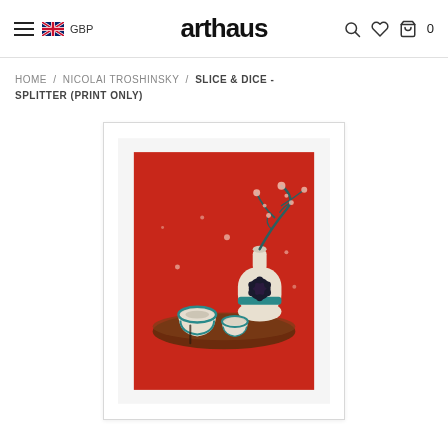arthaus — GBP — search, wishlist, cart (0)
HOME / NICOLAI TROSHINSKY / SLICE & DICE - SPLITTER (PRINT ONLY)
[Figure (illustration): Arthaus product page showing an illustration print by Nicolai Troshinsky titled 'Slice & Dice - Splitter'. The artwork features a Japanese sake set (bottle and cups) on a round tray against a red background, with cherry blossom branches. The print is shown matted inside a white card border within a light grey product card.]